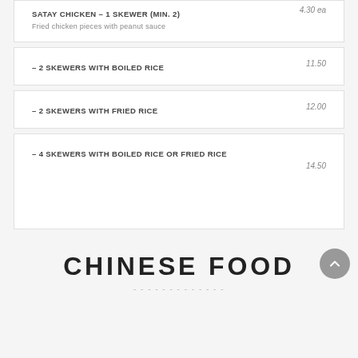SATAY CHICKEN – 1 SKEWER (MIN. 2)    4.30 ea
Fried chicken pieces with peanut sauce
– 2 SKEWERS WITH BOILED RICE    11.50
– 2 SKEWERS WITH FRIED RICE    12.00
– 4 SKEWERS WITH BOILED RICE OR FRIED RICE    14.50
CHINESE FOOD